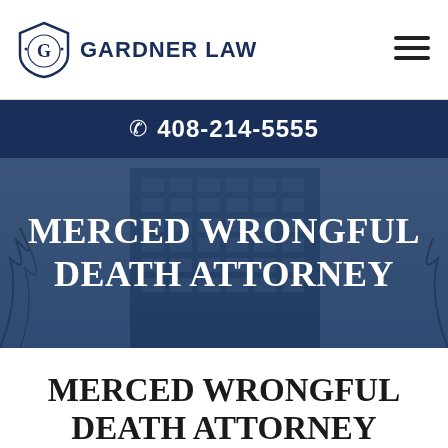GARDNER LAW
📞 408-214-5555
[Figure (photo): Office building exterior with dark blue overlay and text 'MERCED WRONGFUL DEATH ATTORNEY' overlaid in white bold serif font]
MERCED WRONGFUL DEATH ATTORNEY BILINGUAL SPANISH